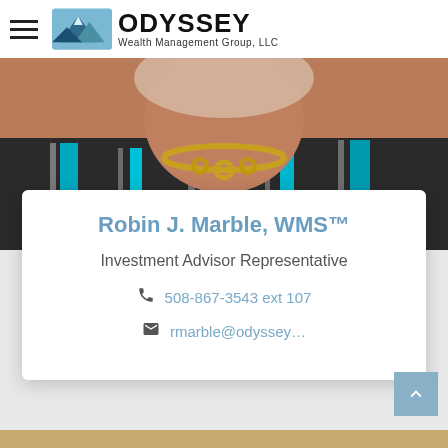ODYSSEY Wealth Management Group, LLC
[Figure (photo): Close-up photo of Robin J. Marble wearing a dark striped top with teal accents and a gold chain necklace]
Robin J. Marble, WMS™
Investment Advisor Representative
508-867-3543 ext 107
rmarble@odyssey…